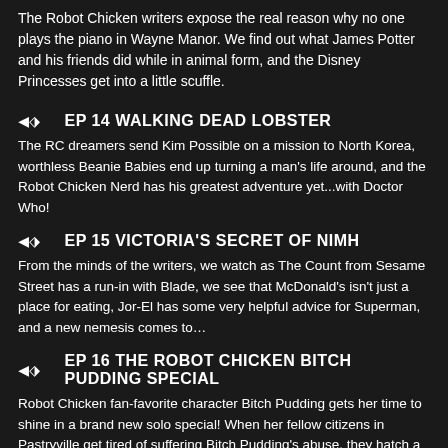The Robot Chicken writers expose the real reason why no one plays the piano in Wayne Manor. We find out what James Potter and his friends did while in animal form, and the Disney Princesses get into a little scuffle.
EP 14 WALKING DEAD LOBSTER
The RC dreamers send Kim Possible on a mission to North Korea, worthless Beanie Babies end up turning a man's life around, and the Robot Chicken Nerd has his greatest adventure yet...with Doctor Who!
EP 15 VICTORIA'S SECRET OF NIMH
From the minds of the writers, we watch as The Count from Sesame Street has a run-in with Blade, we see that McDonald's isn't just a place for eating, Jor-El has some very helpful advice for Superman, and a new nemesis comes to…
EP 16 THE ROBOT CHICKEN BITCH PUDDING SPECIAL
Robot Chicken fan-favorite character Bitch Pudding gets her time to shine in a brand new solo special! When her fellow citizens in Pastryville get tired of suffering Bitch Pudding's abuse, they hatch a plot to eliminate her once and f…
EP 17 BATMAN FOREVER 21
From the minds of the writers, we see how Bear Grylls deal with some Wild